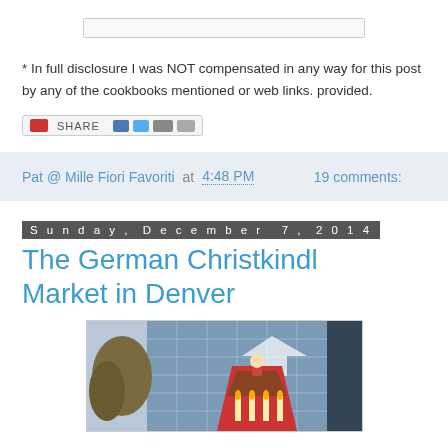[Figure (screenshot): Search bar input field at top of page]
* In full disclosure I was NOT compensated in any way for this post by any of the cookbooks mentioned or web links. provided.
[Figure (screenshot): Social share widget with red icon, SHARE label, and social media icons]
Pat @ Mille Fiori Favoriti at 4:48 PM     19 comments:
Sunday, December 7, 2014
The German Christkindl Market in Denver
[Figure (photo): Photo of a German Christkindl market decoration/pyramid structure in front of a modern glass building in Denver]